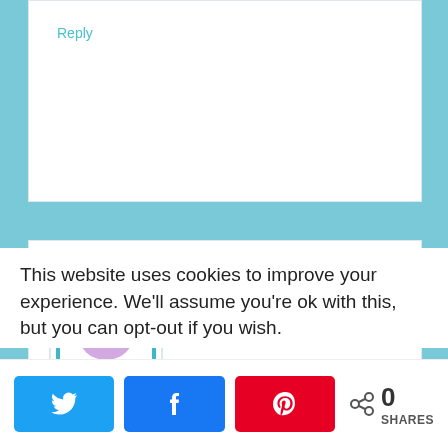Reply
Dee @ Cocktails with Mom says
June 20, 2014 at 9:55 am
[Figure (logo): Cocktails with Mom logo — a stylized cocktail glass with a woman silhouette, teal border, pink and purple colors, text 'Cocktails with Mom']
This website uses cookies to improve your experience. We'll assume you're ok with this, but you can opt-out if you wish.
0 SHARES